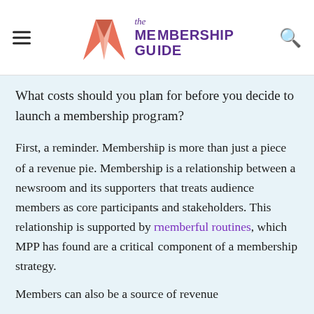the MEMBERSHIP GUIDE
What costs should you plan for before you decide to launch a membership program?
First, a reminder. Membership is more than just a piece of a revenue pie. Membership is a relationship between a newsroom and its supporters that treats audience members as core participants and stakeholders. This relationship is supported by memberful routines, which MPP has found are a critical component of a membership strategy.
Members can also be a source of revenue